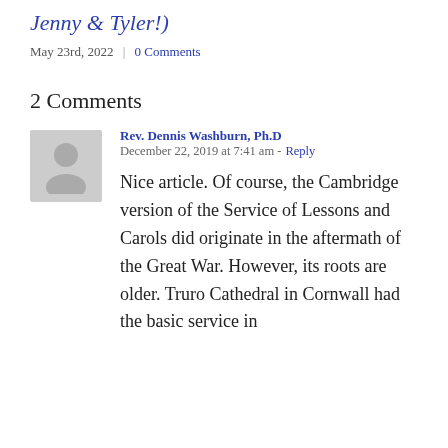Jenny & Tyler!)
May 23rd, 2022  |  0 Comments
2 Comments
Rev. Dennis Washburn, Ph.D  December 22, 2019 at 7:41 am - Reply
Nice article. Of course, the Cambridge version of the Service of Lessons and Carols did originate in the aftermath of the Great War. However, its roots are older. Truro Cathedral in Cornwall had the basic service in